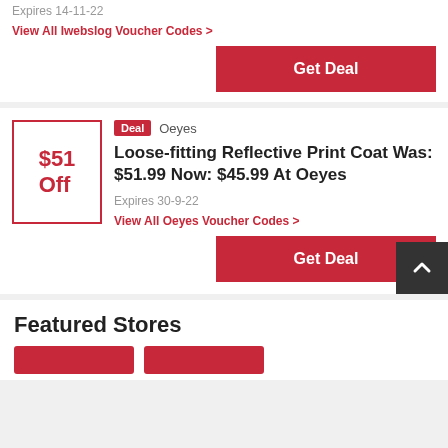Expires 14-11-22
View All Iwebslog Voucher Codes >
Get Deal
$51 Off
Deal  Oeyes
Loose-fitting Reflective Print Coat Was: $51.99 Now: $45.99 At Oeyes
Expires 30-9-22
View All Oeyes Voucher Codes >
Get Deal
Featured Stores